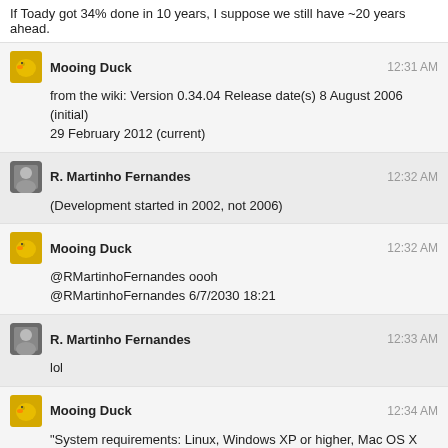If Toady got 34% done in 10 years, I suppose we still have ~20 years ahead.
Mooing Duck 12:31 AM
from the wiki: Version 0.34.04 Release date(s) 8 August 2006 (initial) 29 February 2012 (current)
R. Martinho Fernandes 12:32 AM
(Development started in 2002, not 2006)
Mooing Duck 12:32 AM
@RMartinhoFernandes oooh
@RMartinhoFernandes 6/7/2030 18:21
R. Martinho Fernandes 12:33 AM
lol
Mooing Duck 12:34 AM
"System requirements: Linux, Windows XP or higher, Mac OS X 10.3+, 100 MB hard drive space, 512 MB RAM, 3D accelerator card with OpenGL support"
R. Martinho Fernandes 12:35 AM
Pocket world, 2x2 embark, 50 dorf cap?
Mooing Duck 12:35 AM
I was wondering how one saves
hmm, wonder what happens if you set the max population for like.... 2
R. Martinho Fernandes 12:36 AM